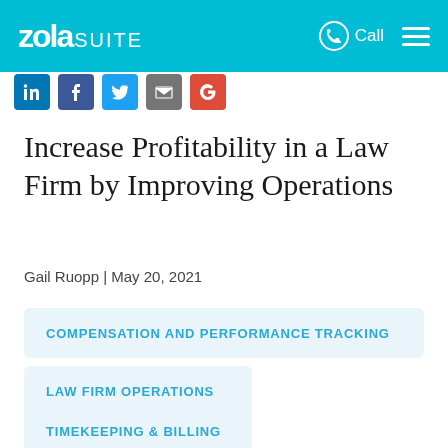ZolaSUITE | Call ☰
[Figure (other): Social sharing icons: LinkedIn, Facebook, Twitter, Email, Google]
Increase Profitability in a Law Firm by Improving Operations
Gail Ruopp | May 20, 2021
COMPENSATION AND PERFORMANCE TRACKING
LAW FIRM OPERATIONS
TIMEKEEPING & BILLING